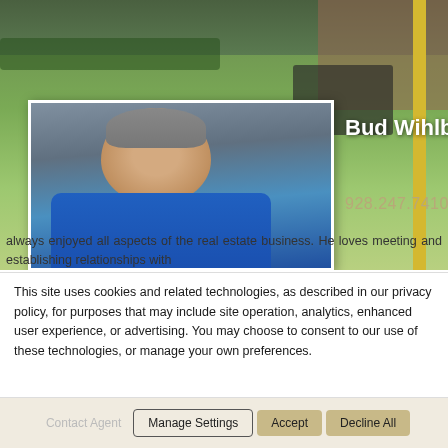[Figure (photo): Profile page for real estate agent Bud Wihlborg. Background shows a suburban house with green lawn, brick facade, and steps. A portrait photo of a middle-aged man in a blue polo shirt is shown on the left.]
Bud Wihlborg
928.247.7410
always enjoyed all aspects of the real estate business. He loves meeting and establishing relationships with
This site uses cookies and related technologies, as described in our privacy policy, for purposes that may include site operation, analytics, enhanced user experience, or advertising. You may choose to consent to our use of these technologies, or manage your own preferences.